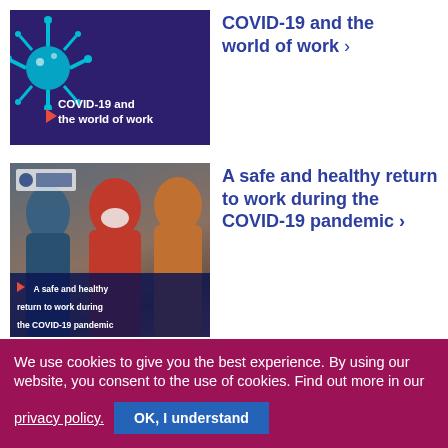[Figure (screenshot): Dark purple banner with teal virus illustration and text 'COVID-19 and the world of work' with a red play triangle]
COVID-19 and the world of work ›
[Figure (photo): Photo of people wearing masks with ILO policy brief document overlay. Text: 'A safe and healthy return to work during the COVID-19 pandemic' and 'Policy Brief']
A safe and healthy return to work during the COVID-19 pandemic ›
We use cookies to give you the best experience. By using our website, you consent to the use of cookies. Find out more in our privacy policy.
OK, I understand